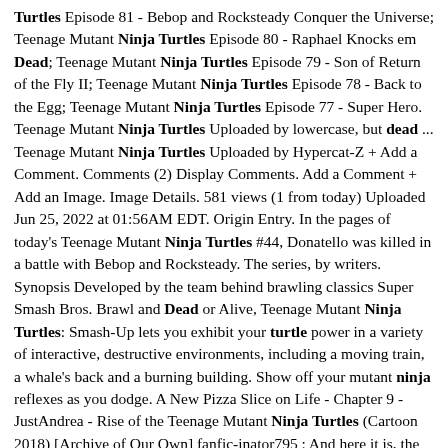Turtles Episode 81 - Bebop and Rocksteady Conquer the Universe; Teenage Mutant Ninja Turtles Episode 80 - Raphael Knocks em Dead; Teenage Mutant Ninja Turtles Episode 79 - Son of Return of the Fly II; Teenage Mutant Ninja Turtles Episode 78 - Back to the Egg; Teenage Mutant Ninja Turtles Episode 77 - Super Hero. Teenage Mutant Ninja Turtles Uploaded by lowercase, but dead ... Teenage Mutant Ninja Turtles Uploaded by Hypercat-Z + Add a Comment. Comments (2) Display Comments. Add a Comment + Add an Image. Image Details. 581 views (1 from today) Uploaded Jun 25, 2022 at 01:56AM EDT. Origin Entry. In the pages of today's Teenage Mutant Ninja Turtles #44, Donatello was killed in a battle with Bebop and Rocksteady. The series, by writers. Synopsis Developed by the team behind brawling classics Super Smash Bros. Brawl and Dead or Alive, Teenage Mutant Ninja Turtles: Smash-Up lets you exhibit your turtle power in a variety of interactive, destructive environments, including a moving train, a whale's back and a burning building. Show off your mutant ninja reflexes as you dodge. A New Pizza Slice on Life - Chapter 9 - JustAndrea - Rise of the Teenage Mutant Ninja Turtles (Cartoon 2018) [Archive of Our Own] fanfic-inator795 : And here it is, the final chapter of my @tmnt-big-bang fic!! ^v^ Thank you to everyone. Teenage Mutant Ninja Turtles: Shredder's Revenge volta a juntar Leonardo, Michelangelo, Donatello e Raphael num fantástico jogo beat 'em up de deslocação lateral que recorda o lendário estilo de 1987 das